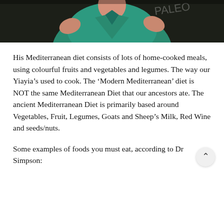[Figure (photo): Photo of a person in teal/green medical scrubs with hands raised, appearing to speak, in front of a dark chalkboard background.]
His Mediterranean diet consists of lots of home-cooked meals, using colourful fruits and vegetables and legumes. The way our Yiayia’s used to cook. The ‘Modern Mediterranean’ diet is NOT the same Mediterranean Diet that our ancestors ate. The ancient Mediterranean Diet is primarily based around Vegetables, Fruit, Legumes, Goats and Sheep’s Milk, Red Wine and seeds/nuts.
Some examples of foods you must eat, according to Dr Simpson: